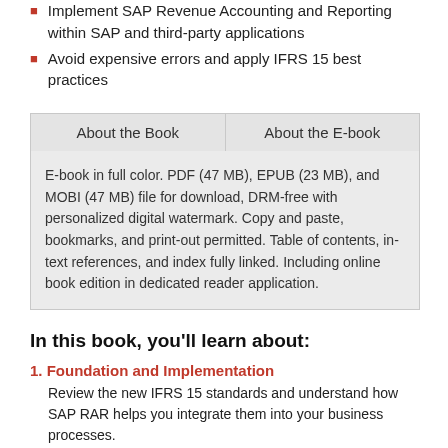Implement SAP Revenue Accounting and Reporting within SAP and third-party applications
Avoid expensive errors and apply IFRS 15 best practices
| About the Book | About the E-book |
| --- | --- |
| E-book in full color. PDF (47 MB), EPUB (23 MB), and MOBI (47 MB) file for download, DRM-free with personalized digital watermark. Copy and paste, bookmarks, and print-out permitted. Table of contents, in-text references, and index fully linked. Including online book edition in dedicated reader application. |  |
In this book, you'll learn about:
1. Foundation and Implementation
Review the new IFRS 15 standards and understand how SAP RAR helps you integrate them into your business processes.